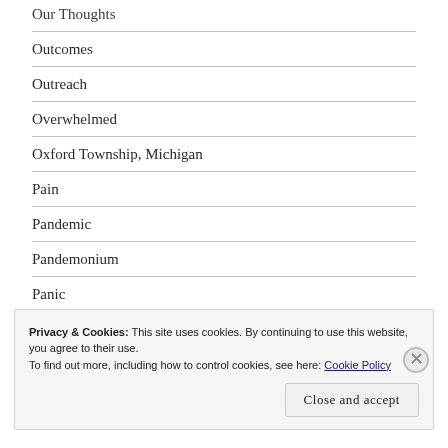Our Thoughts
Outcomes
Outreach
Overwhelmed
Oxford Township, Michigan
Pain
Pandemic
Pandemonium
Panic
Privacy & Cookies: This site uses cookies. By continuing to use this website, you agree to their use.
To find out more, including how to control cookies, see here: Cookie Policy
Close and accept